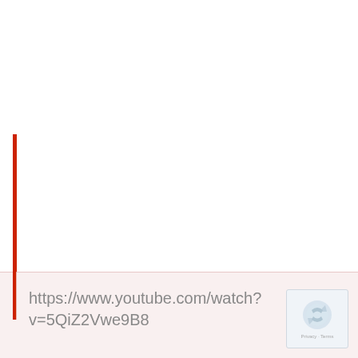[Figure (other): A vertical red line on the left side of a mostly white page, appearing as a decorative or separator element in a web page screenshot context.]
https://www.youtube.com/watch?v=5QiZ2Vwe9B8
[Figure (other): reCAPTCHA logo/widget box in the bottom right corner with 'Privacy - Terms' label.]